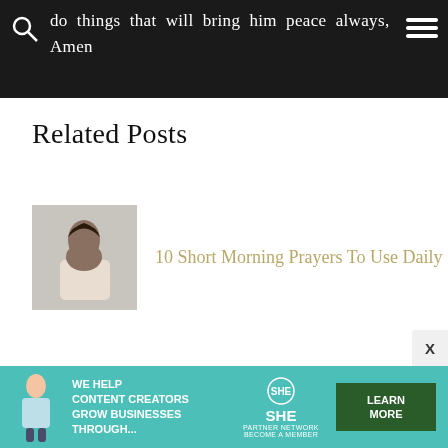do things that will bring him peace always,
Amen
Related Posts
[Figure (photo): Thumbnail image of a person praying, head bowed]
10 Short Morning Prayers To Use Daily
[Figure (infographic): Advertisement banner: WE HELP CONTENT CREATORS GROW BUSINESSES THROUGH... SHE PARTNER NETWORK BECOME A MEMBER — LEARN MORE button]